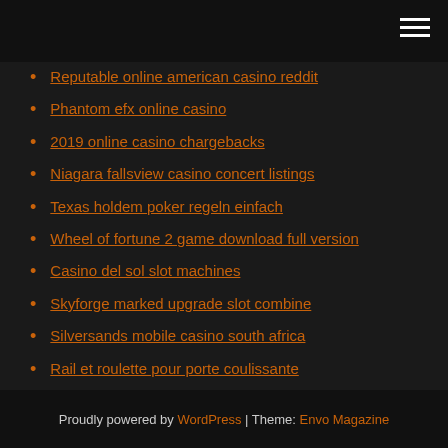Reputable online american casino reddit
Phantom efx online casino
2019 online casino chargebacks
Niagara fallsview casino concert listings
Texas holdem poker regeln einfach
Wheel of fortune 2 game download full version
Casino del sol slot machines
Skyforge marked upgrade slot combine
Silversands mobile casino south africa
Rail et roulette pour porte coulissante
Gambling king online casino
Proudly powered by WordPress | Theme: Envo Magazine